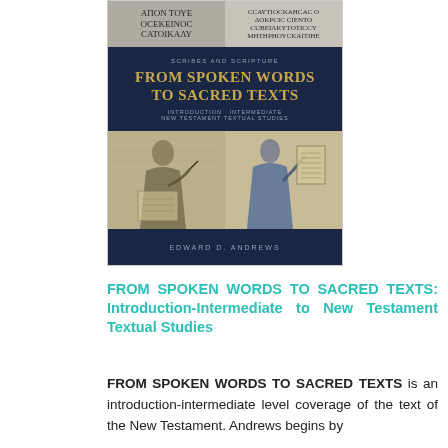[Figure (illustration): Book cover of 'From Spoken Words to Sacred Texts: Introduction-Intermediate New Testament Textual Studies' by Edward D. Andrews. Cover features ancient Greek manuscript text at top, a dark navy title banner in the middle, and two illuminated manuscript illustrations of scribes at bottom.]
FROM SPOKEN WORDS TO SACRED TEXTS: Introduction-Intermediate to New Testament Textual Studies
FROM SPOKEN WORDS TO SACRED TEXTS is an introduction-intermediate level coverage of the text of the New Testament. Andrews begins by